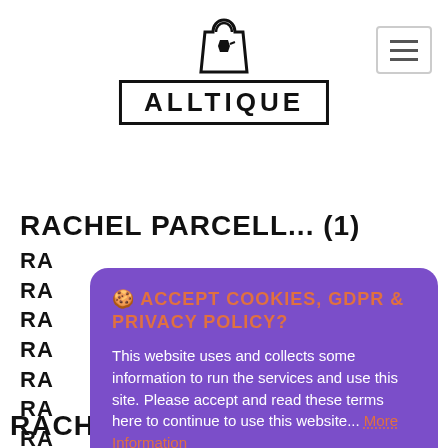[Figure (logo): Alltique logo with shopping bag icon above text in a rectangular border]
RACHEL PARCELL... (1)
RA...
RA...
RA...
RA...
RA...
RA...
RA...
RA...
RA...
🍪 ACCEPT COOKIES, GDPR & PRIVACY POLICY?
This website uses and collects some information to run the services and use this site. Please accept and read these terms here to continue to use this website... More Information
Accept Cookies and Privacy, GDP Policy
Customise Cookies
RACHELMULHERIN (87)